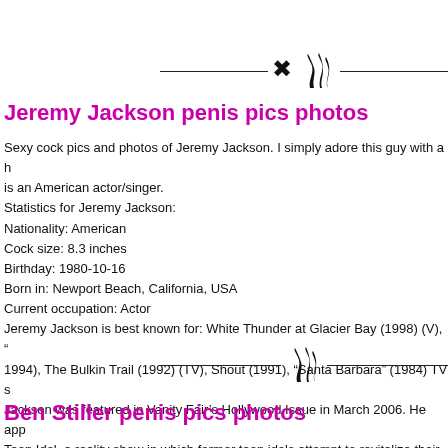[Figure (other): Decorative horizontal divider with flame/swirl icon in center]
Jeremy Jackson penis pics photos
Sexy cock pics and photos of Jeremy Jackson. I simply adore this guy with a h is an American actor/singer.
Statistics for Jeremy Jackson:
Nationality: American
Cock size: 8.3 inches
Birthday: 1980-10-16
Born in: Newport Beach, California, USA
Current occupation: Actor
Jeremy Jackson is best known for: White Thunder at Glacier Bay (1998) (V), “ 1994), The Bulkin Trail (1992) (TV), Shout (1991), “Santa Barbara” (1984) TV s Jackson was featured in Vanity Fair’s Hollywood Issue in March 2006. He app Teen Idol, a reality show in which former teen idols attempt to revitalize their ca
[Figure (other): Decorative horizontal divider with flame/swirl icon in center]
Ben Stiller penis pics photos